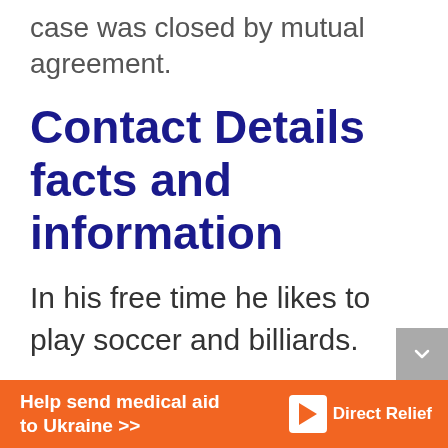case was closed by mutual agreement.
Contact Details facts and information
In his free time he likes to play soccer and billiards.
He is an avid animal lover who enjoys spending time with his dog
[Figure (other): Orange advertisement banner for Direct Relief: 'Help send medical aid to Ukraine >>' with Direct Relief logo]